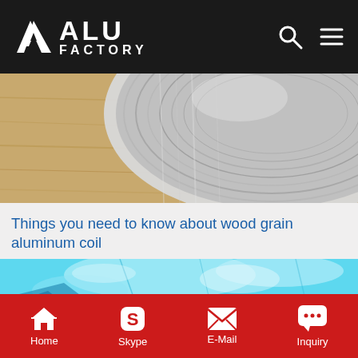ALU FACTORY
[Figure (photo): Close-up of an aluminum coil roll on a wooden surface, showing metallic silver sheen]
Things you need to know about wood grain aluminum coil
[Figure (photo): Blue protective film on aluminum coil/sheet, showing crinkled blue plastic film on metallic surface]
Home  Skype  E-Mail  Inquiry